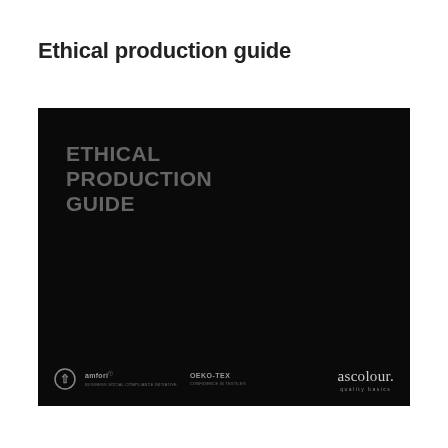Ethical production guide
[Figure (illustration): Black cover of the Ethical Production Guide document, featuring large grey uppercase text reading 'ETHICAL PRODUCTION GUIDE' in the upper left, logos for amfori, OEKO-TEX, and an organic cotton symbol in the bottom left, and the 'ascolour. quality basics' logotype in the bottom right.]